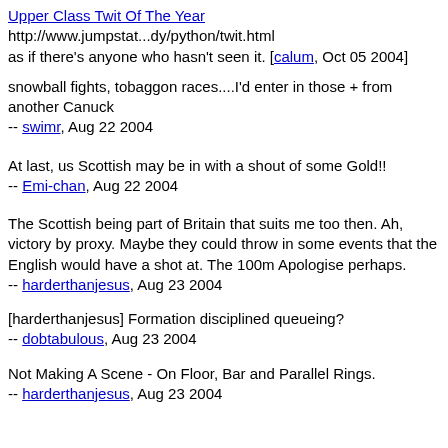Upper Class Twit Of The Year
http://www.jumpstat...dy/python/twit.html
as if there's anyone who hasn't seen it. [calum, Oct 05 2004]
snowball fights, tobaggon races....I'd enter in those + from another Canuck
-- swimr, Aug 22 2004
At last, us Scottish may be in with a shout of some Gold!!
-- Emi-chan, Aug 22 2004
The Scottish being part of Britain that suits me too then. Ah, victory by proxy. Maybe they could throw in some events that the English would have a shot at. The 100m Apologise perhaps.
-- harderthanjesus, Aug 23 2004
[harderthanjesus] Formation disciplined queueing?
-- dobtabulous, Aug 23 2004
Not Making A Scene - On Floor, Bar and Parallel Rings.
-- harderthanjesus, Aug 23 2004